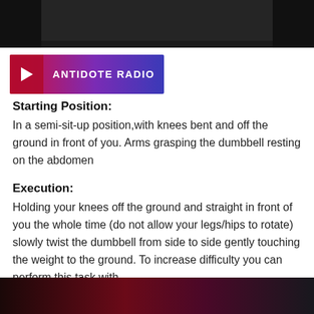[Figure (photo): Dark image showing hands or person at top of page, partially cropped]
[Figure (logo): Antidote Radio banner with play button triangle, gradient background from red to purple/blue]
Starting Position:
In a semi-sit-up position,with knees bent and off the ground in front of you. Arms grasping the dumbbell resting on the abdomen
Execution:
Holding your knees off the ground and straight in front of you the whole time (do not allow your legs/hips to rotate) slowly twist the dumbbell from side to side gently touching the weight to the ground. To increase difficulty you can perform this task with